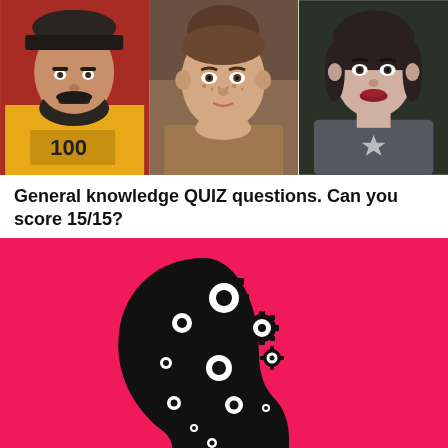[Figure (photo): Three portrait photos side by side: a bearded man in a yellow shirt against a red background, a freckled young woman resting her chin on her hand, and a young woman with short dark hair and red lips against a dark background.]
General knowledge QUIZ questions. Can you score 15/15?
[Figure (illustration): A pink/hot-pink background with a black silhouette of a human head in profile, filled with interlocking white and black gear/cog shapes, representing a thinking brain or knowledge concept.]